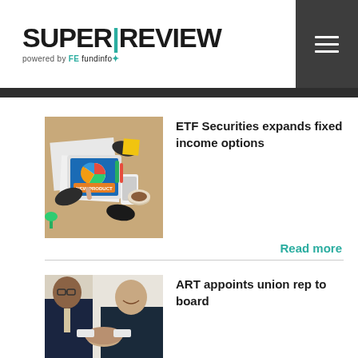SUPER|REVIEW powered by FE fundinfo
[Figure (photo): Overhead view of business people working at a desk with tablet showing 'NEW PRODUCT' and a pie chart, papers, coffee cup, and smartphone]
ETF Securities expands fixed income options
Read more
[Figure (photo): Two men in suits shaking hands, smiling, in a bright indoor setting]
ART appoints union rep to board